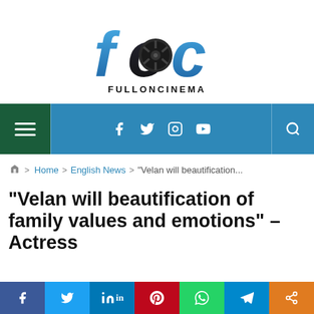[Figure (logo): FullOnCinema logo with stylized 'foc' letters in blue/dark gradient with a film reel in the 'o', and text FULLONCINEMA below]
[Figure (screenshot): Navigation bar with hamburger menu on left (dark green background), social media icons (Facebook, Twitter, Instagram, YouTube) and search icon on a blue background]
Home > English News > "Velan will beautification...
"Velan will beautification of family values and emotions" – Actress
[Figure (infographic): Social sharing bar with icons for Facebook, Twitter, LinkedIn, Pinterest, WhatsApp, Telegram, Share]